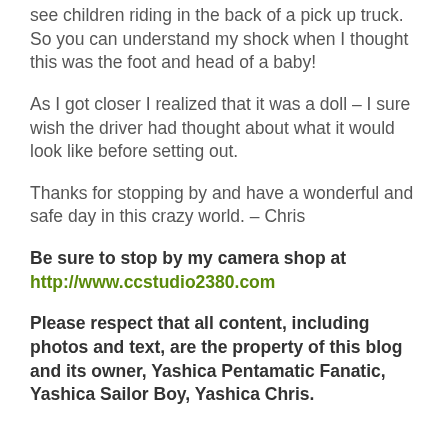see children riding in the back of a pick up truck. So you can understand my shock when I thought this was the foot and head of a baby!
As I got closer I realized that it was a doll – I sure wish the driver had thought about what it would look like before setting out.
Thanks for stopping by and have a wonderful and safe day in this crazy world. – Chris
Be sure to stop by my camera shop at http://www.ccstudio2380.com
Please respect that all content, including photos and text, are the property of this blog and its owner, Yashica Pentamatic Fanatic, Yashica Sailor Boy, Yashica Chris.